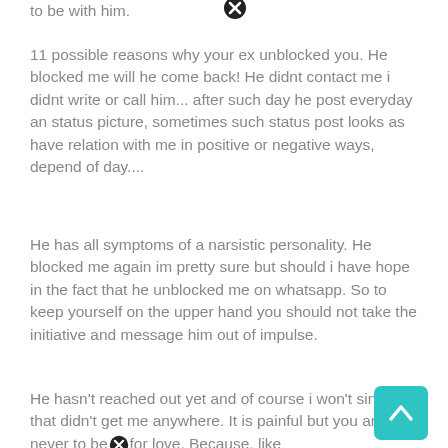to be with him.
11 possible reasons why your ex unblocked you. He blocked me will he come back! He didnt contact me i didnt write or call him... after such day he post everyday an status picture, sometimes such status post looks as have relation with me in positive or negative ways, depend of day....
He has all symptoms of a narsistic personality. He blocked me again im pretty sure but should i have hope in the fact that he unblocked me on whatsapp. So to keep yourself on the upper hand you should not take the initiative and message him out of impulse.
He hasn't reached out yet and of course i won't since that didn't get me anywhere. It is painful but you are never to beg for love. Because, like